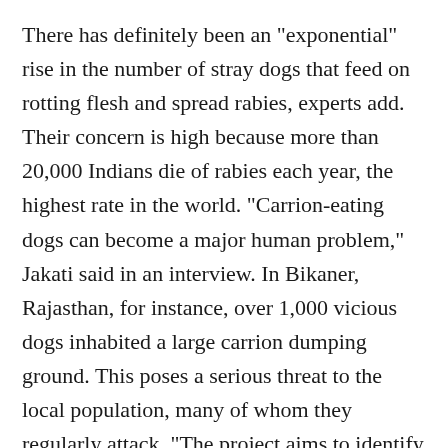There has definitely been an "exponential" rise in the number of stray dogs that feed on rotting flesh and spread rabies, experts add. Their concern is high because more than 20,000 Indians die of rabies each year, the highest rate in the world. "Carrion-eating dogs can become a major human problem," Jakati said in an interview. In Bikaner, Rajasthan, for instance, over 1,000 vicious dogs inhabited a large carrion dumping ground. This poses a serious threat to the local population, many of whom they regularly attack. "The project aims to identify the reasons behind the decline in India's vulture population and to develop corrective measures," Britain's environment